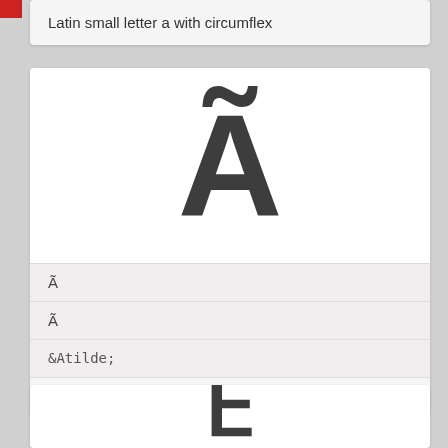Latin small letter a with circumflex
[Figure (illustration): Large display of Latin capital letter A with tilde (Ã) centered in white box]
Ã
Ã
&Atilde;
Latin capital letter A with tilde
[Figure (illustration): Partial display of next character at bottom of page]